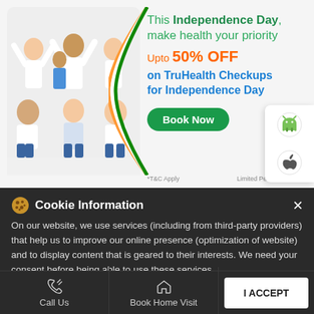[Figure (illustration): Advertisement banner for TruHealth Checkups with a family photo on the left and promotional text on the right. Features an Indian tricolor arc design. Shows: 'This Independence Day, make health your priority, Upto 50% OFF on TruHealth Checkups for Independence Day, Book Now button. *T&C Apply, Limited Period'.]
Social Timeline
Cookie Information
On our website, we use services (including from third-party providers) that help us to improve our online presence (optimization of website) and to display content that is geared to their interests. We need your consent before being able to use these services.
Call Us
Book Home Visit
Directions
I ACCEPT